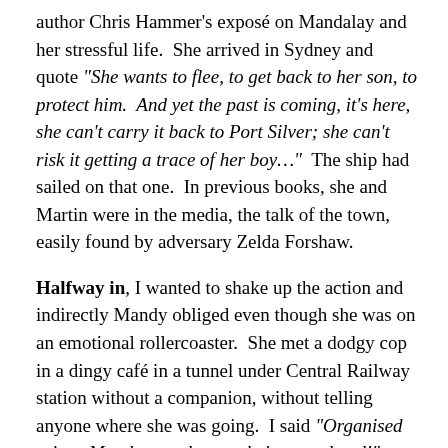author Chris Hammer's exposé on Mandalay and her stressful life.  She arrived in Sydney and quote "She wants to flee, to get back to her son, to protect him.  And yet the past is coming, it's here, she can't carry it back to Port Silver; she can't risk it getting a trace of her boy..."  The ship had sailed on that one.  In previous books, she and Martin were in the media, the talk of the town, easily found by adversary Zelda Forshaw.
Halfway in, I wanted to shake up the action and indirectly Mandy obliged even though she was on an emotional rollercoaster.  She met a dodgy cop in a dingy café in a tunnel under Central Railway station without a companion, without telling anyone where she was going.  I said "Organised crime, Mandy, people were being murdered!"  Thus the script-writing elements showed with Chris Hammer's talking heads and scene-setting rather than people who moved through their surroundings.  Ancillary characters were great, from the